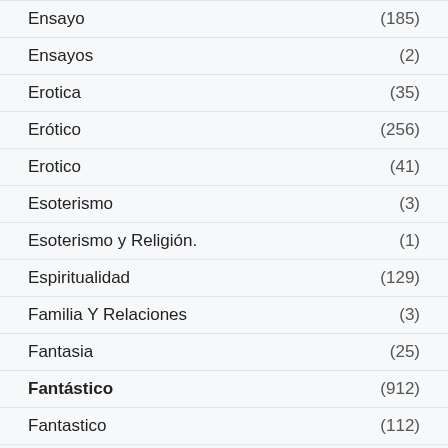Ensayo (185)
Ensayos (2)
Erotica (35)
Erótico (256)
Erotico (41)
Esoterismo (3)
Esoterismo y Religión. (1)
Espiritualidad (129)
Familia Y Relaciones (3)
Fantasia (25)
Fantástico (912)
Fantastico (112)
Ficcion (11)